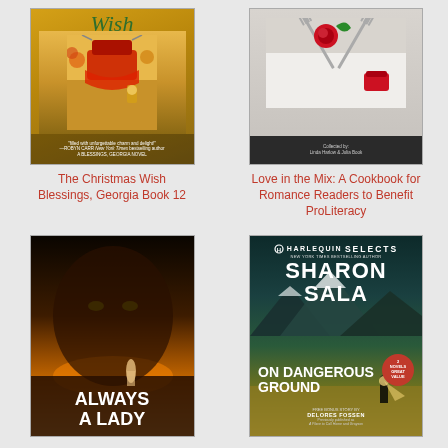[Figure (illustration): Book cover: The Christmas Wish, Blessings Georgia Book 12, showing a red chair on a porch with autumn decorations]
The Christmas Wish
Blessings, Georgia Book 12
[Figure (illustration): Book cover: Love in the Mix: A Cookbook for Romance Readers to Benefit ProLiteracy, showing forks crossed over a red rose and red food item on a white plate]
Love in the Mix: A Cookbook for Romance Readers to Benefit ProLiteracy
[Figure (illustration): Book cover: Always a Lady by Sharon Sala (New York Times Bestselling Author), showing a man's face and a woman in a field at sunset]
[Figure (illustration): Book cover: On Dangerous Ground by Sharon Sala, Harlequin Selects, 2 Novels, with bonus story by Delores Fossen, showing mountains and a figure with a light]